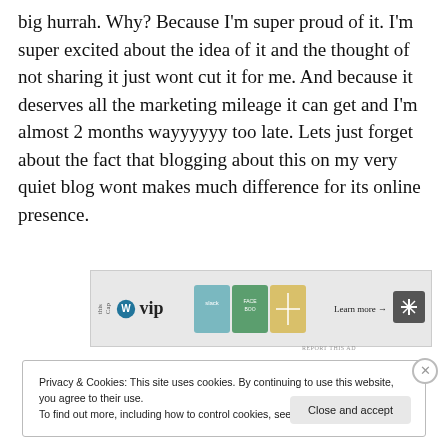big hurrah. Why? Because I'm super proud of it. I'm super excited about the idea of it and the thought of not sharing it just wont cut it for me. And because it deserves all the marketing mileage it can get and I'm almost 2 months wayyyyyy too late. Lets just forget about the fact that blogging about this on my very quiet blog wont makes much difference for its online presence.
[Figure (screenshot): Advertisement banner for WordPress VIP showing the WP VIP logo, colorful product cards (Slack, Facebook etc.), a 'Learn more →' button, and a logo on the right. 'REPORT THIS AD' text below.]
Privacy & Cookies: This site uses cookies. By continuing to use this website, you agree to their use.
To find out more, including how to control cookies, see here: Cookie Policy